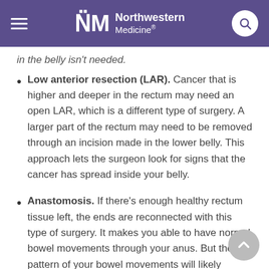Northwestern Medicine
in the belly isn't needed.
Low anterior resection (LAR). Cancer that is higher and deeper in the rectum may need an open LAR, which is a different type of surgery. A larger part of the rectum may need to be removed through an incision made in the lower belly. This approach lets the surgeon look for signs that the cancer has spread inside your belly.
Anastomosis. If there's enough healthy rectum tissue left, the ends are reconnected with this type of surgery. It makes you able to have normal bowel movements through your anus. But the pattern of your bowel movements will likely